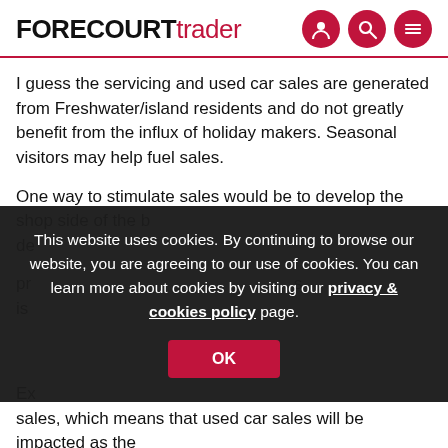FORECOURTtrader
I guess the servicing and used car sales are generated from Freshwater/island residents and do not greatly benefit from the influx of holiday makers. Seasonal visitors may help fuel sales.
One way to stimulate sales would be to develop the shop side of the business...
This website uses cookies. By continuing to browse our website, you are agreeing to our use of cookies. You can learn more about cookies by visiting our privacy & cookies policy page.
sales, which means that used car sales will be impacted as the number of trade-ins increase. Freshwater Garages should